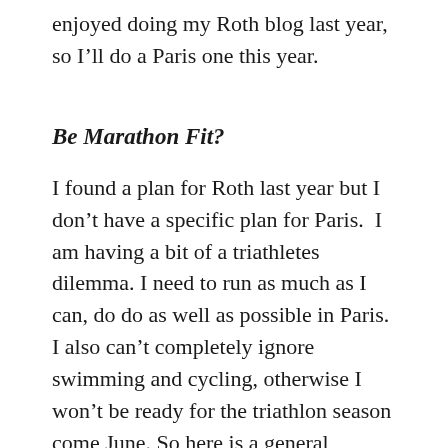enjoyed doing my Roth blog last year, so I'll do a Paris one this year.
Be Marathon Fit?
I found a plan for Roth last year but I don't have a specific plan for Paris.  I am having a bit of a triathletes dilemma. I need to run as much as I can, do do as well as possible in Paris. I also can't completely ignore swimming and cycling, otherwise I won't be ready for the triathlon season come June. So here is a general skeleton plan for what I think might work for me.